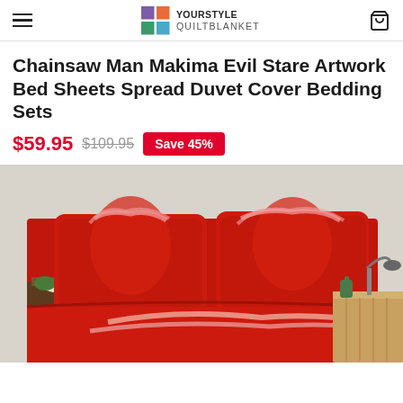YOURSTYLE QUILTBLANKET
Chainsaw Man Makima Evil Stare Artwork Bed Sheets Spread Duvet Cover Bedding Sets
$59.95  $109.95  Save 45%
[Figure (photo): Product photo of Chainsaw Man Makima anime-themed red bedding set displayed on a bed, with pillows and duvet cover featuring artwork of Makima character, white lamp on left nightstand and desk lamp on right wicker nightstand visible in background.]